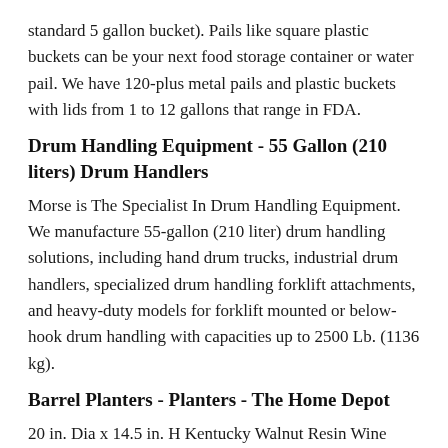standard 5 gallon bucket). Pails like square plastic buckets can be your next food storage container or water pail. We have 120-plus metal pails and plastic buckets with lids from 1 to 12 gallons that range in FDA.
Drum Handling Equipment - 55 Gallon (210 liters) Drum Handlers
Morse is The Specialist In Drum Handling Equipment. We manufacture 55-gallon (210 liter) drum handling solutions, including hand drum trucks, industrial drum handlers, specialized drum handling forklift attachments, and heavy-duty models for forklift mounted or below-hook drum handling with capacities up to 2500 Lb. (1136 kg).
Barrel Planters - Planters - The Home Depot
20 in. Dia x 14.5 in. H Kentucky Walnut Resin Wine Barrel The Napa Wine Barrel has a classic look that The